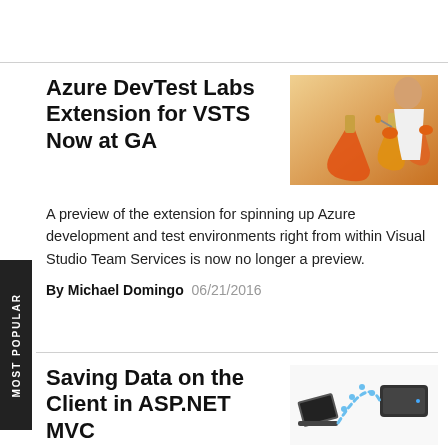Azure DevTest Labs Extension for VSTS Now at GA
[Figure (photo): Scientist with orange liquid in lab flasks]
A preview of the extension for spinning up Azure development and test environments right from within Visual Studio Team Services is now no longer a preview.
By Michael Domingo 06/21/2016
Saving Data on the Client in ASP.NET MVC
[Figure (photo): Laptop connected to external hard drive with cable]
Here's another way to make